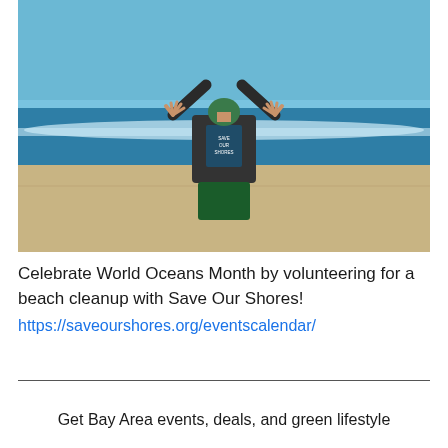[Figure (photo): Person standing on a beach with arms raised in a V shape, wearing a dark t-shirt with 'Save Our Shores' text, green hair in a bun, viewed from behind. Ocean waves and blue sky visible in background.]
Celebrate World Oceans Month by volunteering for a beach cleanup with Save Our Shores!
https://saveourshores.org/eventscalendar/
Get Bay Area events, deals, and green lifestyle